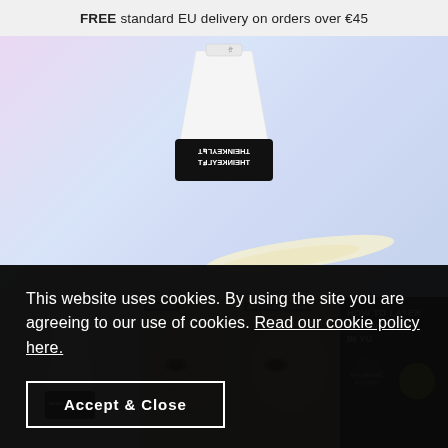FREE standard EU delivery on orders over €45
[Figure (photo): Hero product shot of The Inkey List retinol eye cream bottle on pastel gradient background with cream smear]
[Figure (photo): Thumbnail row: left shows product bottle on pink/purple background; center shows before and after eye area comparison with labels BEFORE and AFTER 6 WEEKS; right shows how to layer retinol eye cream infographic on black background]
This website uses cookies. By using the site you are agreeing to our use of cookies. Read our cookie policy here.
Accept & Close